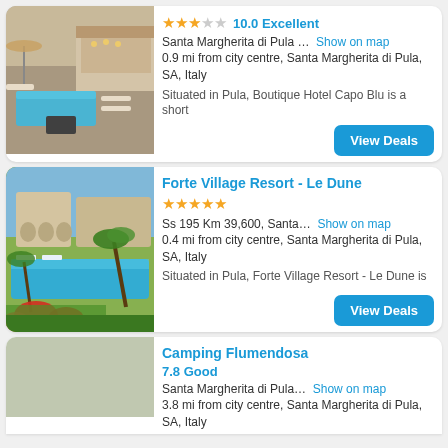[Figure (photo): Hotel pool and lounge area with blue water, outdoor furniture, and umbrellas at Boutique Hotel Capo Blu, Sardinia]
★★★☆☆  10.0 Excellent
Santa Margherita di Pula …  Show on map
0.9 mi from city centre, Santa Margherita di Pula, SA, Italy
Situated in Pula, Boutique Hotel Capo Blu is a short
View Deals
Forte Village Resort - Le Dune
[Figure (photo): Resort hotel with swimming pool, palm trees, and red flowers at Forte Village Resort - Le Dune, Sardinia]
★★★★★
Ss 195 Km 39,600, Santa…  Show on map
0.4 mi from city centre, Santa Margherita di Pula, SA, Italy
Situated in Pula, Forte Village Resort - Le Dune is
View Deals
Camping Flumendosa
7.8 Good
Santa Margherita di Pula…  Show on map
3.8 mi from city centre, Santa Margherita di Pula, SA, Italy
Situated in Pula, Flumendosa is a short...